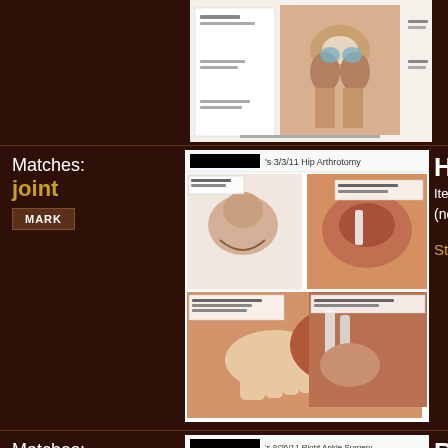[Figure (illustration): Partial view of a medical/anatomical exhibit showing knee or joint anatomy, cropped at top of page]
[Figure (illustration): Hip Arthrotomy surgical exhibit dated 3/3/11, showing multiple surgical procedure images of hip joint surgery with anatomical illustrations]
Matches:
joint
MARK
Hip Arthr...
Item# 11114_0...
(no descript...
Starting at $395
[Figure (illustration): Right Ankle Surgery exhibit dated 8/26/11, showing surgical procedure images of right ankle surgery]
Matches:
joint
MARK
Right Ank...
Item# 11113_0...
(no descript...
Starting at $395